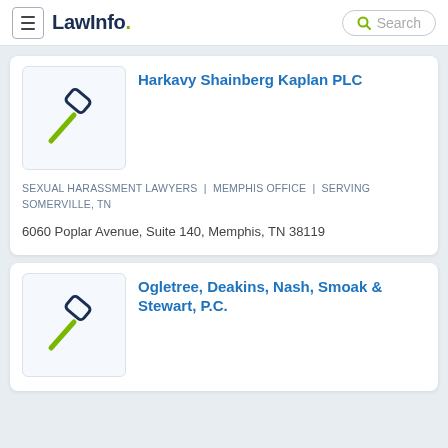LawInfo. Search
Harkavy Shainberg Kaplan PLC
SEXUAL HARASSMENT LAWYERS | MEMPHIS OFFICE | SERVING SOMERVILLE, TN
6060 Poplar Avenue, Suite 140, Memphis, TN 38119
Ogletree, Deakins, Nash, Smoak & Stewart, P.C.